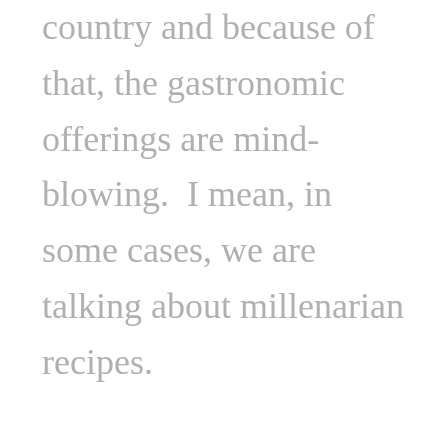country and because of that, the gastronomic offerings are mind-blowing.  I mean, in some cases, we are talking about millenarian recipes.

Make an effort to try the dishes, desserts, and drinks from the area you are visiting.  You may not have heard of these dishes before but you will feel satisfied after trying them.